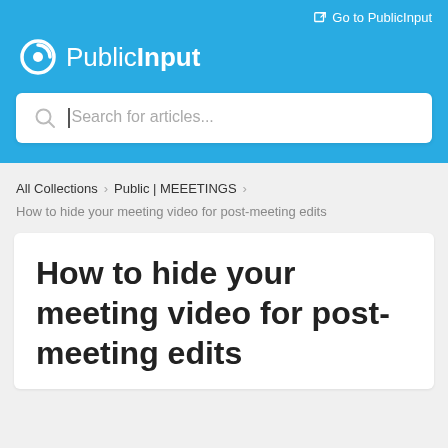[Figure (logo): PublicInput logo with circular arrow icon and text 'PublicInput' in white on blue background]
Go to PublicInput
Search for articles...
All Collections > Public | MEEETINGS >
How to hide your meeting video for post-meeting edits
How to hide your meeting video for post-meeting edits